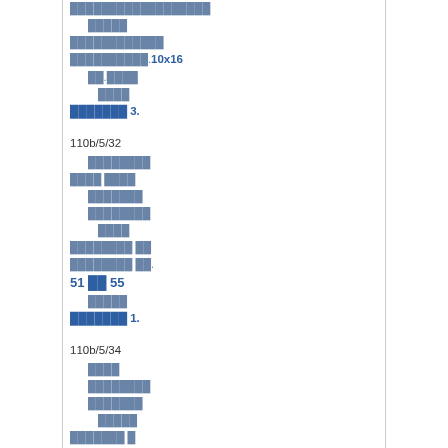██████████████████
█████
████████████
██████████.10x16
██.████
████
███████ 3.
110b/5/32
████████
████ ████
███████
████████
████
████████ ██
████████ ██.
51 ██ 55
█████
███████ 1.
110b/5/34
████
████████
███████
█████
███████ █
████████